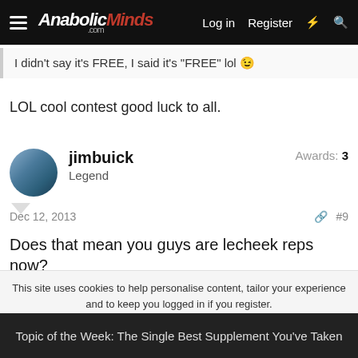AnabolicMinds.com — Log in   Register
I didn't say it's FREE, I said it's "FREE" lol 😉
LOL cool contest good luck to all.
jimbuick — Legend — Awards: 3
Dec 12, 2013   #9
Does that mean you guys are lecheek reps now?
This site uses cookies to help personalise content, tailor your experience and to keep you logged in if you register.
By continuing to use this site, you are consenting to our use of cookies.
Accept   Learn more...
Topic of the Week: The Single Best Supplement You've Taken